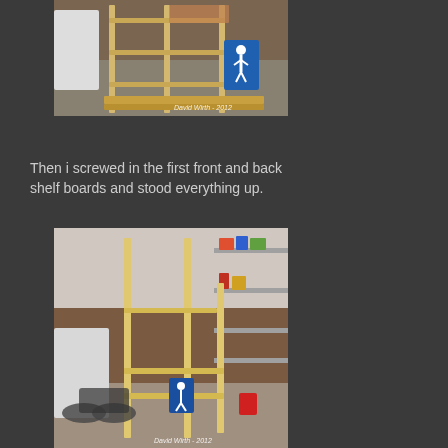[Figure (photo): Partially assembled wooden shelf unit lying on garage floor with lumber boards, near a blue handicap parking sign. Watermark reads 'David Wirth - 2012'.]
Then i screwed in the first front and back shelf boards and stood everything up.
[Figure (photo): Completed wooden shelf unit standing upright in a garage with a motorcycle, white appliances, and items on existing shelves in background. A blue handicap sign is visible. Watermark reads 'David Wirth - 2012'.]